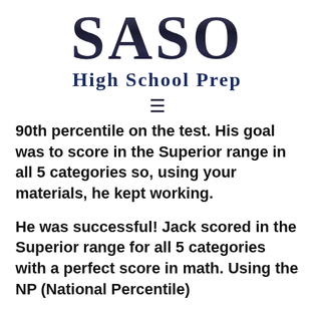SASO HIGH SCHOOL PREP
[Figure (other): Hamburger menu icon (three horizontal lines)]
90th percentile on the test. His goal was to score in the Superior range in all 5 categories so, using your materials, he kept working.
He was successful! Jack scored in the Superior range for all 5 categories with a perfect score in math. Using the NP (National Percentile)